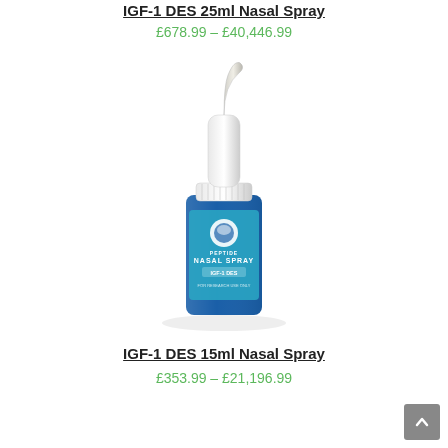IGF-1 DES 25ml Nasal Spray
£678.99 – £40,446.99
[Figure (photo): Blue nasal spray bottle with white pump top, labeled 'Peptide Nasal Spray IGF-1 DES']
IGF-1 DES 15ml Nasal Spray
£353.99 – £21,196.99